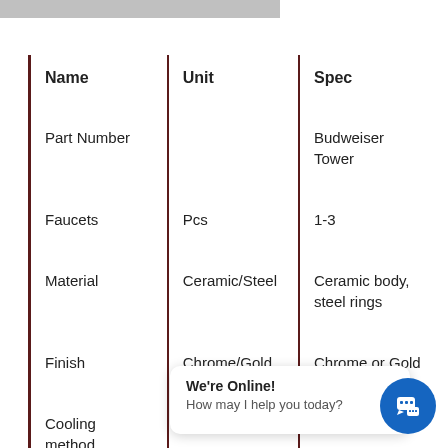| Name | Unit | Spec |
| --- | --- | --- |
| Part Number |  | Budweiser Tower |
| Faucets | Pcs | 1-3 |
| Material | Ceramic/Steel | Ceramic body, steel rings |
| Finish | Chrome/Gold | Chrome or Gold |
| Cooling method |  |  |